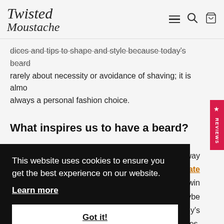Twisted Moustache — navigation header with logo, hamburger menu, search icon, basket icon
dices and tips to shape and style because today's beard is rarely about necessity or avoidance of shaving; it is almost always a personal fashion choice.
What inspires us to have a beard?
This website uses cookies to ensure you get the best experience on our website. Learn more Got it!
away ate win ybe y's ames, ed